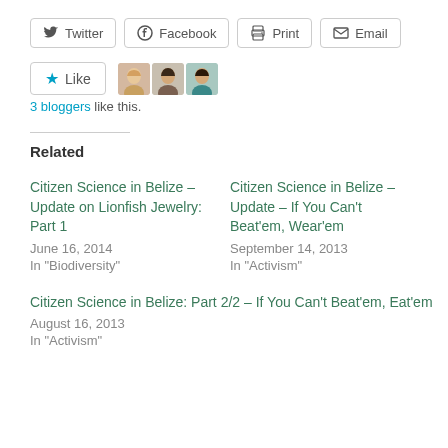[Figure (infographic): Social share buttons: Twitter, Facebook, Print, Email]
[Figure (infographic): Like button with star icon and 3 blogger avatar thumbnails]
3 bloggers like this.
Related
Citizen Science in Belize – Update on Lionfish Jewelry: Part 1
June 16, 2014
In "Biodiversity"
Citizen Science in Belize – Update – If You Can't Beat'em, Wear'em
September 14, 2013
In "Activism"
Citizen Science in Belize: Part 2/2 – If You Can't Beat'em, Eat'em
August 16, 2013
In "Activism"